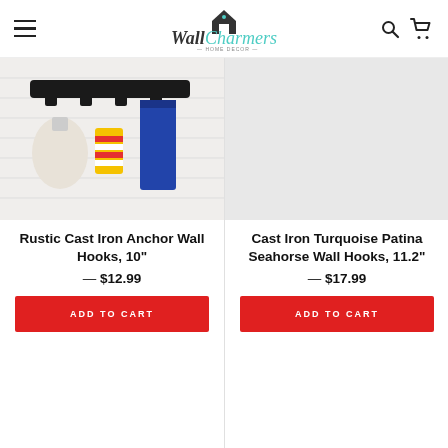Wall Charmers — Home Decor
[Figure (photo): Photo of a rustic cast iron anchor wall hook with items hanging on it against a white wood plank background]
Rustic Cast Iron Anchor Wall Hooks, 10"
— $12.99
ADD TO CART
[Figure (photo): Light grey/white blank product image placeholder for Cast Iron Turquoise Patina Seahorse Wall Hooks]
Cast Iron Turquoise Patina Seahorse Wall Hooks, 11.2"
— $17.99
ADD TO CART